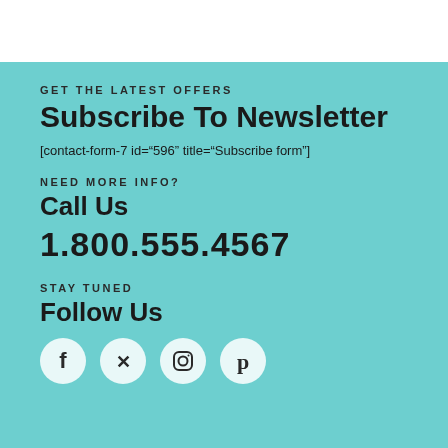GET THE LATEST OFFERS
Subscribe To Newsletter
[contact-form-7 id="596" title="Subscribe form"]
NEED MORE INFO?
Call Us
1.800.555.4567
STAY TUNED
Follow Us
[Figure (illustration): Four social media icons: Facebook, Twitter, Instagram, Pinterest in white circles]